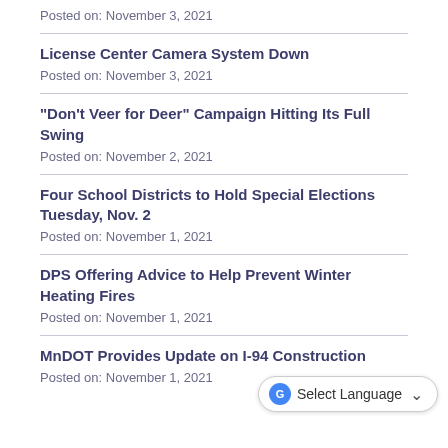Posted on: November 3, 2021
License Center Camera System Down
Posted on: November 3, 2021
"Don't Veer for Deer" Campaign Hitting Its Full Swing
Posted on: November 2, 2021
Four School Districts to Hold Special Elections Tuesday, Nov. 2
Posted on: November 1, 2021
DPS Offering Advice to Help Prevent Winter Heating Fires
Posted on: November 1, 2021
MnDOT Provides Update on I-94 Construction
Posted on: November 1, 2021